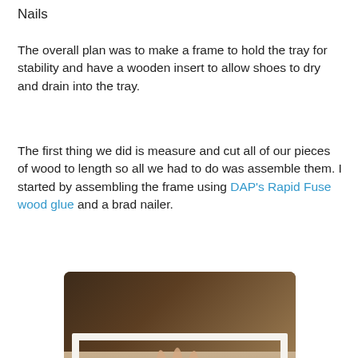Nails
The overall plan was to make a frame to hold the tray for stability and have a wooden insert to allow shoes to dry and drain into the tray.
The first thing we did is measure and cut all of our pieces of wood to length so all we had to do was assemble them. I started by assembling the frame using DAP’s Rapid Fuse wood glue and a brad nailer.
[Figure (photo): A hand pressing down on a white wooden frame laid flat on a brown surface. A blue tool (brad nailer) is visible in the lower left corner. Workshop/garage setting in background.]